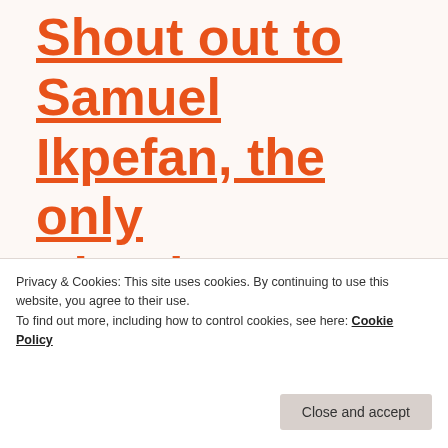Shout out to Samuel Ikpefan, the only Nigerian athlete at Beijing 2022
15TH FEBRUARY 2022
Privacy & Cookies: This site uses cookies. By continuing to use this website, you agree to their use.
To find out more, including how to control cookies, see here: Cookie Policy